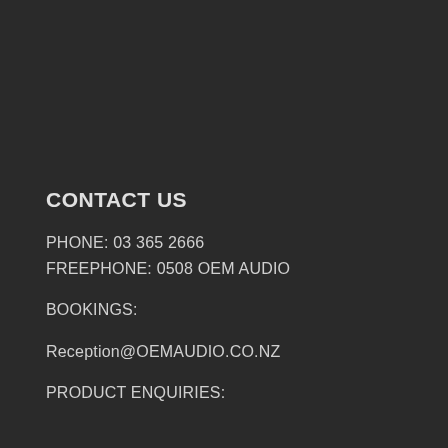CONTACT US
PHONE: 03 365 2666
FREEPHONE: 0508 OEM AUDIO
BOOKINGS:
Reception@OEMAUDIO.CO.NZ
PRODUCT ENQUIRIES: